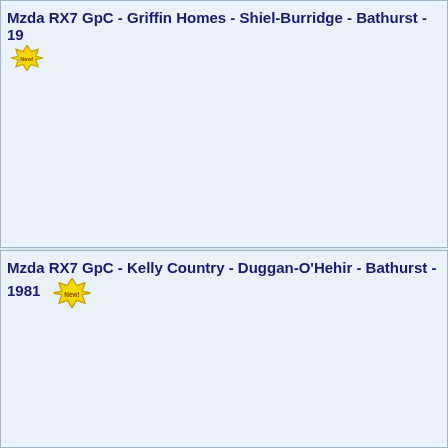Mzda RX7 GpC - Griffin Homes - Shiel-Burridge - Bathurst - 19...
[Figure (illustration): New! starburst badge icon]
Mzda RX7 GpC - Kelly Country - Duggan-O'Hehir - Bathurst - 1981
[Figure (illustration): New! starburst badge icon]